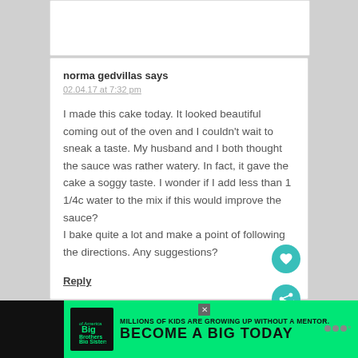norma gedvillas says
02.04.17 at 7:32 pm
I made this cake today. It looked beautiful coming out of the oven and I couldn't wait to sneak a taste. My husband and I both thought the sauce was rather watery. In fact, it gave the cake a soggy taste. I wonder if I add less than 1 1/4c water to the mix if this would improve the sauce?
I bake quite a lot and make a point of following the directions. Any suggestions?
Reply
[Figure (infographic): Advertisement banner: Big Brothers Big Sisters logo, text 'MILLIONS OF KIDS ARE GROWING UP WITHOUT A MENTOR. BECOME A BIG TODAY' with a Learn How button, on green background with black bar]